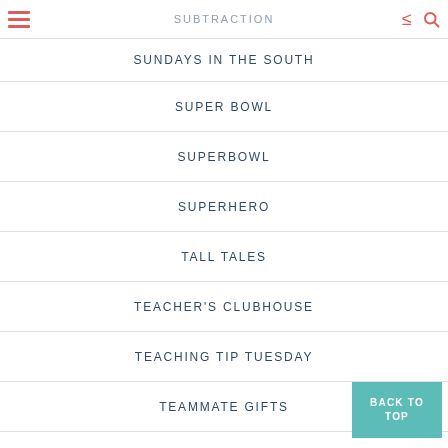SUBTRACTION
SUNDAYS IN THE SOUTH
SUPER BOWL
SUPERBOWL
SUPERHERO
TALL TALES
TEACHER'S CLUBHOUSE
TEACHING TIP TUESDAY
TEAMMATE GIFTS
TECHNOLOGY
BACK TO TOP